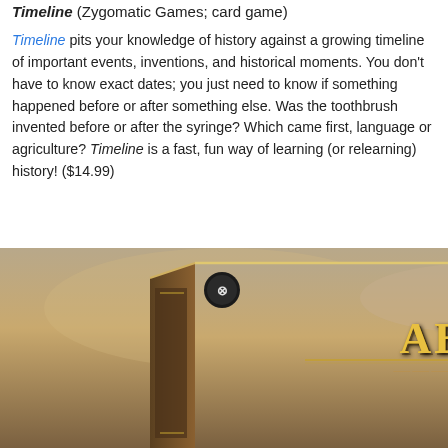Timeline (Zygomatic Games; card game)
Timeline pits your knowledge of history against a growing timeline of important events, inventions, and historical moments. You don't have to know exact dates; you just need to know if something happened before or after something else. Was the toothbrush invented before or after the syringe? Which came first, language or agriculture? Timeline is a fast, fun way of learning (or relearning) history! ($14.99)
[Figure (photo): Box art for the board game 'Abandons' by Michael 'Dmitri' Blaxin, showing a wolf and dramatic sky.]